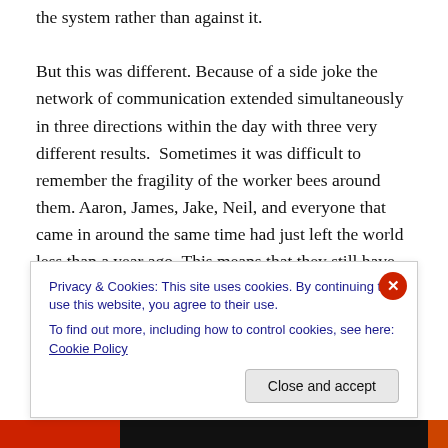the system rather than against it.

But this was different.  Because of a side joke the network of communication extended simultaneously in three directions within the day with three very different results.  Sometimes it was difficult to remember the fragility of the worker bees around them.  Aaron, James, Jake, Neil, and everyone that came in around the same time had just left the world less than a year ago.  This means that they still have knowledge of what is happening on the outside up until the current year.  The workers around them were
Privacy & Cookies: This site uses cookies. By continuing to use this website, you agree to their use.
To find out more, including how to control cookies, see here: Cookie Policy
Close and accept